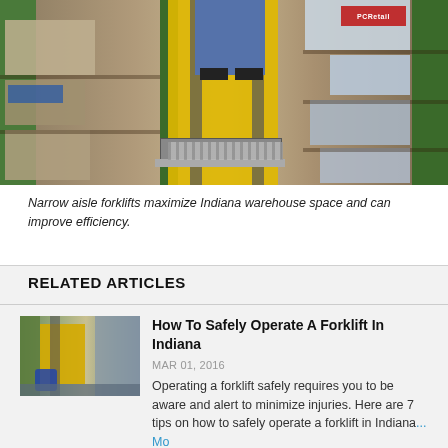[Figure (photo): A worker standing on a narrow aisle forklift in a warehouse with tall shelving racks loaded with boxes and industrial supplies.]
Narrow aisle forklifts maximize Indiana warehouse space and can improve efficiency.
RELATED ARTICLES
[Figure (photo): Thumbnail image of a forklift operating in a warehouse.]
How To Safely Operate A Forklift In Indiana
MAR 01, 2016
Operating a forklift safely requires you to be aware and alert to minimize injuries. Here are 7 tips on how to safely operate a forklift in Indiana...